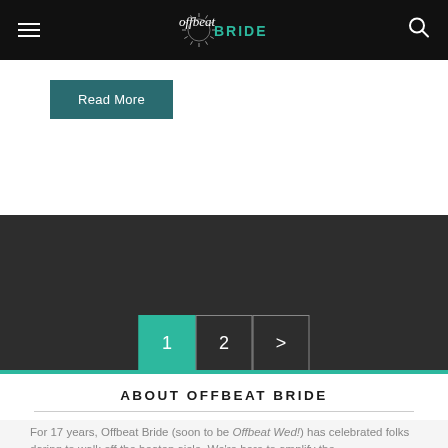Offbeat BRIDE
Read More
1 2 >
ABOUT OFFBEAT BRIDE
For 17 years, Offbeat Bride (soon to be Offbeat Wed!) has celebrated folks daring to walk off the beaten aisle. We're here to amplify the